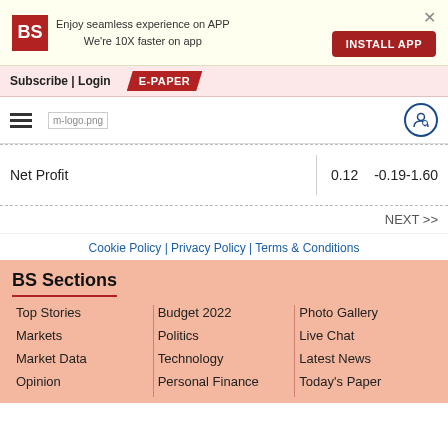Enjoy seamless experience on APP
We're 10X faster on app
INSTALL APP
Subscribe | Login  E-PAPER
[Figure (logo): BS logo and m-logo.png navigation bar with user icon]
|  |  |  |
| --- | --- | --- |
| Net Profit | 0.12 | -0.19-1.60 |
NEXT >>
Cookie Policy | Privacy Policy | Terms & Conditions
BS Sections
Top Stories
Markets
Market Data
Opinion
Budget 2022
Politics
Technology
Personal Finance
Photo Gallery
Live Chat
Latest News
Today's Paper